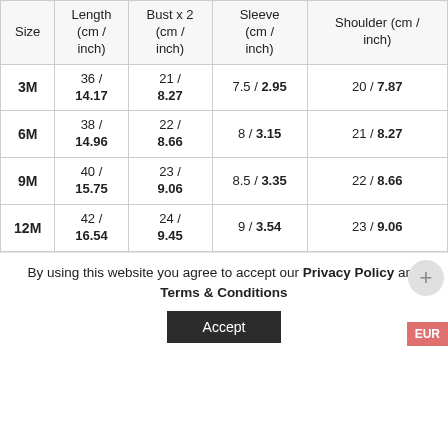| Size | Length (cm / inch) | Bust x 2 (cm / inch) | Sleeve (cm / inch) | Shoulder (cm / inch) |
| --- | --- | --- | --- | --- |
| 3M | 36 / 14.17 | 21 / 8.27 | 7.5 / 2.95 | 20 / 7.87 |
| 6M | 38 / 14.96 | 22 / 8.66 | 8 / 3.15 | 21 / 8.27 |
| 9M | 40 / 15.75 | 23 / 9.06 | 8.5 / 3.35 | 22 / 8.66 |
| 12M | 42 / 16.54 | 24 / 9.45 | 9 / 3.54 | 23 / 9.06 |
By using this website you agree to accept our Privacy Policy and Terms & Conditions